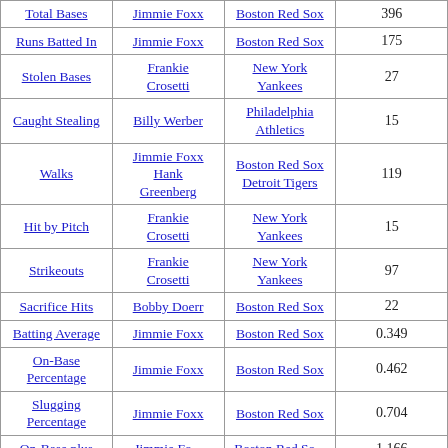| Category | Player | Team | Value |
| --- | --- | --- | --- |
| Total Bases | Jimmie Foxx | Boston Red Sox | 396 |
| Runs Batted In | Jimmie Foxx | Boston Red Sox | 175 |
| Stolen Bases | Frankie Crosetti | New York Yankees | 27 |
| Caught Stealing | Billy Werber | Philadelphia Athletics | 15 |
| Walks | Jimmie Foxx Hank Greenberg | Boston Red Sox Detroit Tigers | 119 |
| Hit by Pitch | Frankie Crosetti | New York Yankees | 15 |
| Strikeouts | Frankie Crosetti | New York Yankees | 97 |
| Sacrifice Hits | Bobby Doerr | Boston Red Sox | 22 |
| Batting Average | Jimmie Foxx | Boston Red Sox | 0.349 |
| On-Base Percentage | Jimmie Foxx | Boston Red Sox | 0.462 |
| Slugging Percentage | Jimmie Foxx | Boston Red Sox | 0.704 |
| On-Base plus | Jimmie Foxx | Boston Red Sox | 1.166 |